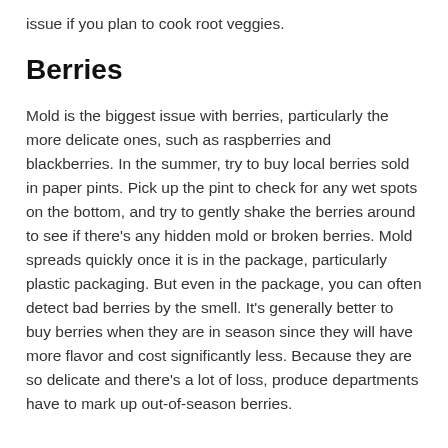issue if you plan to cook root veggies.
Berries
Mold is the biggest issue with berries, particularly the more delicate ones, such as raspberries and blackberries. In the summer, try to buy local berries sold in paper pints. Pick up the pint to check for any wet spots on the bottom, and try to gently shake the berries around to see if there's any hidden mold or broken berries. Mold spreads quickly once it is in the package, particularly plastic packaging. But even in the package, you can often detect bad berries by the smell. It's generally better to buy berries when they are in season since they will have more flavor and cost significantly less. Because they are so delicate and there's a lot of loss, produce departments have to mark up out-of-season berries.